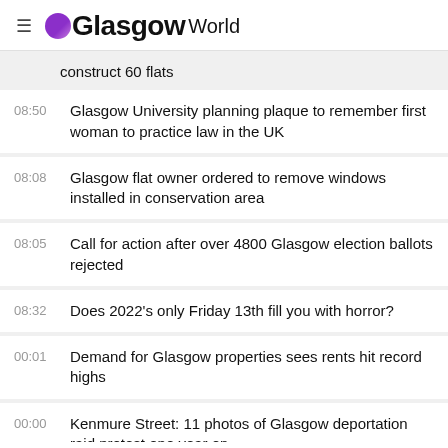GlasgowWorld
construct 60 flats
08:50 Glasgow University planning plaque to remember first woman to practice law in the UK
08:08 Glasgow flat owner ordered to remove windows installed in conservation area
08:05 Call for action after over 4800 Glasgow election ballots rejected
08:32 Does 2022's only Friday 13th fill you with horror?
00:01 Demand for Glasgow properties sees rents hit record highs
00:00 Kenmure Street: 11 photos of Glasgow deportation raid protest one year on